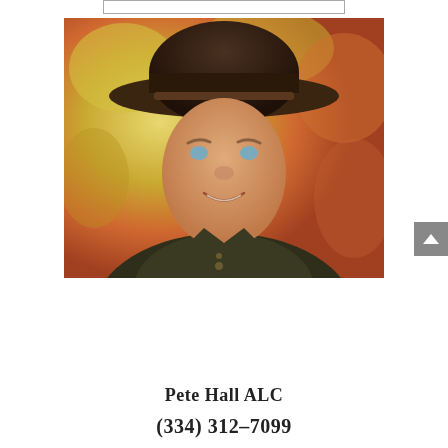[Figure (photo): Portrait photo of Pete Hall ALC, a man wearing a dark brown wide-brim fedora hat and an olive/dark jacket or vest, smiling, with autumn foliage background in yellow, orange, and green tones.]
Pete Hall ALC
(334) 312-7099